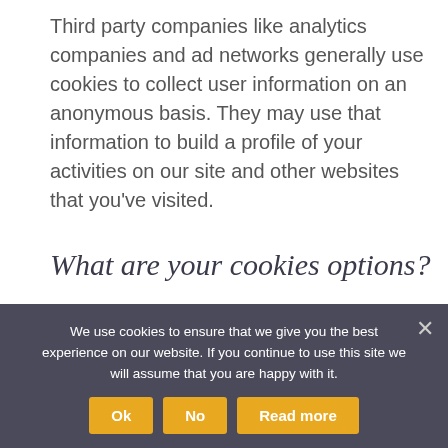Third party companies like analytics companies and ad networks generally use cookies to collect user information on an anonymous basis. They may use that information to build a profile of your activities on our site and other websites that you've visited.
What are your cookies options?
If you don't like the idea of cookies or certain types of cookies, you can change your
We use cookies to ensure that we give you the best experience on our website. If you continue to use this site we will assume that you are happy with it.